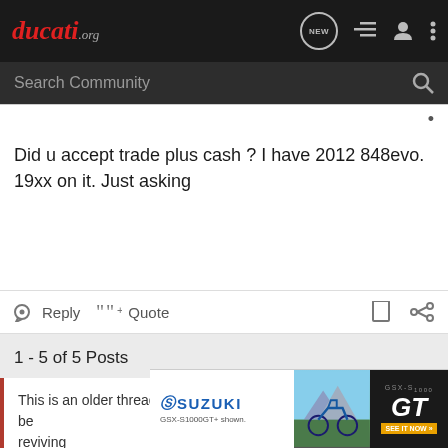ducati.org
Search Community
Did u accept trade plus cash ? I have 2012 848evo. 19xx on it. Just asking
Reply  Quote
1 - 5 of 5 Posts
This is an older thread, you may not receive a response, and could be reviving
[Figure (screenshot): Suzuki GSX-S1000GT advertisement banner showing a motorcycle with blue and black color scheme]